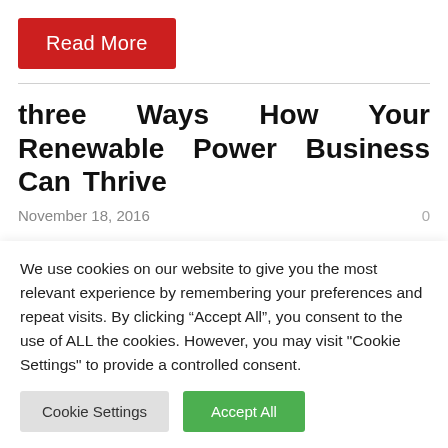Read More
three Ways How Your Renewable Power Business Can Thrive
November 18, 2016
0
[Figure (photo): Black reflective sphere/ball, partially visible, cropped at bottom of section]
We use cookies on our website to give you the most relevant experience by remembering your preferences and repeat visits. By clicking “Accept All”, you consent to the use of ALL the cookies. However, you may visit "Cookie Settings" to provide a controlled consent.
Cookie Settings
Accept All